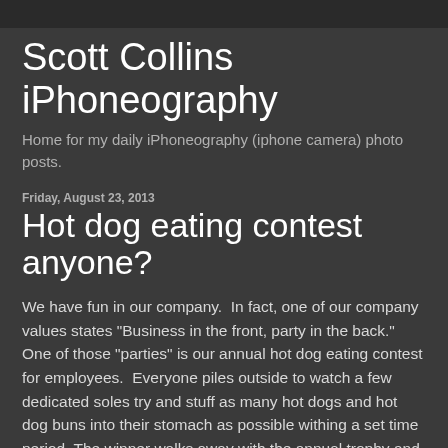Scott Collins iPhoneography
Home for my daily iPhoneography (iphone camera) photo posts.
Friday, August 23, 2013
Hot dog eating contest anyone?
We have fun in our company.  In fact, one of our company values states "Business in the front, party in the back."  One of those "parties" is our annual hot dog eating contest for employees.  Everyone piles outside to watch a few dedicated soles try and stuff as many hot dogs and hot dog buns into their stomach as possible withing a set time period. The winner walks away with the annual trophy and a big prize along with the bragging rights for the next 12 months.  Afterwards, those who did not participate enjoy a nice lunch